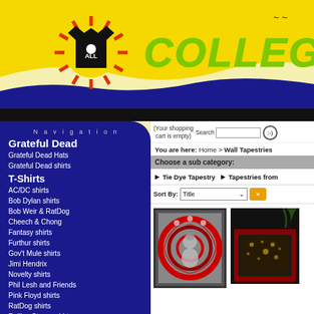[Figure (logo): AllColleges.com website header banner with yellow background, black t-shirt with 'ALL' text and sunburst design, green stylized text 'COLLEGES' on yellow background]
(Your shopping cart is empty)  Search  [search box]  [:-) button]
You are here: Home > Wall Tapestries
Choose a sub category:
► Tie Dye Tapestry
► Tapestries from
Sort By: Title [dropdown] [>>]
Navigation
Grateful Dead
Grateful Dead Hats
Grateful Dead shirts
T-Shirts
AC/DC shirts
Bob Dylan shirts
Bob Weir & RatDog
Cheech & Chong
Fantasy shirts
Furthur shirts
Gov't Mule shirts
Jimi Hendrix
Novelty shirts
Phil Lesh and Friends
Pink Floyd shirts
RatDog shirts
Rolling Stones shirts
[Figure (photo): Wall tapestry with Buddha meditating, red and grey spiral mandala design with dark border]
[Figure (photo): Dark tapestry/bedspread with red border trim and decorative pattern, shown on a bed with plants in background]